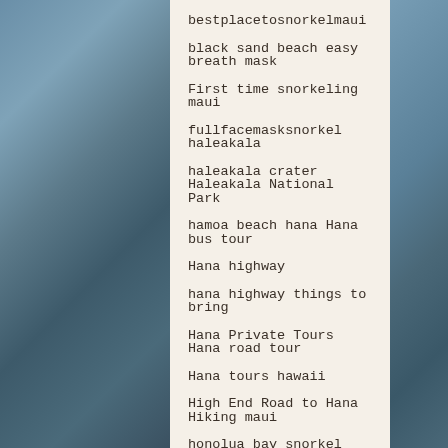bestplacetosnorkelmaui
black sand beach   easy breath mask
First time snorkeling maui
fullfacemasksnorkel   haleakala
haleakala crater   Haleakala National Park
hamoa beach   hana   Hana bus tour
Hana highway
hana highway things to bring
Hana Private Tours   Hana road tour
Hana tours   hawaii
High End Road to Hana   Hiking maui
honolua bay snorkel
honolua bay snorkel maui
honoluabaysnorkel